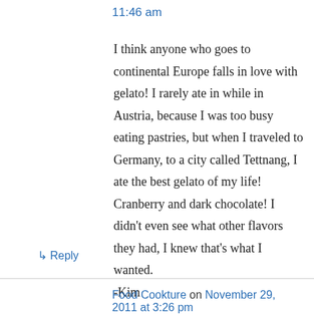11:46 am
I think anyone who goes to continental Europe falls in love with gelato! I rarely ate in while in Austria, because I was too busy eating pastries, but when I traveled to Germany, to a city called Tettnang, I ate the best gelato of my life! Cranberry and dark chocolate! I didn't even see what other flavors they had, I knew that's what I wanted.
-Kim
↳ Reply
Food Cookture on November 29, 2011 at 3:26 pm
great post! very fun to read and sooo true about the gelato experience and then with chocolate :)